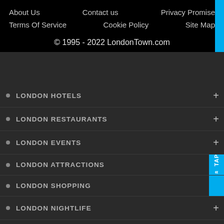About Us   Contact us   Privacy Promise   Terms Of Service   Cookie Policy   Site Map
© 1995 - 2022 LondonTown.com
LONDON HOTELS
LONDON RESTAURANTS
LONDON EVENTS
LONDON ATTRACTIONS
LONDON SHOPPING
LONDON NIGHTLIFE
LONDON HEALTH & LEISURE
LONDON TRAVEL